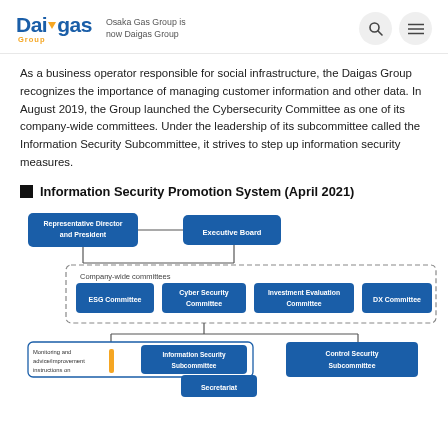Daigas Group — Osaka Gas Group is now Daigas Group
As a business operator responsible for social infrastructure, the Daigas Group recognizes the importance of managing customer information and other data. In August 2019, the Group launched the Cybersecurity Committee as one of its company-wide committees. Under the leadership of its subcommittee called the Information Security Subcommittee, it strives to step up information security measures.
Information Security Promotion System (April 2021)
[Figure (organizational-chart): Organizational chart showing the Information Security Promotion System as of April 2021. Top level: Representative Director and President, connected to Executive Board. Below: Company-wide committees box containing ESG Committee, Cyber Security Committee, Investment Evaluation Committee, DX Committee. Below that: Information Security Subcommittee (with Secretariat and Monitoring/advice/improvement instructions noted) and Control Security Subcommittee.]